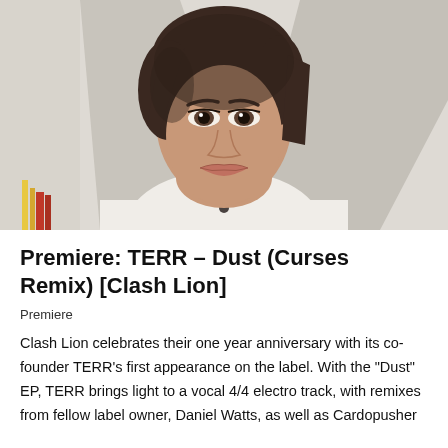[Figure (photo): Portrait photo of a young woman with short dark brown pixie cut hair, wearing a white turtleneck, looking directly at camera with a neutral expression. Background is blurred light interior.]
Premiere: TERR – Dust (Curses Remix) [Clash Lion]
Premiere
Clash Lion celebrates their one year anniversary with its co-founder TERR's first appearance on the label. With the "Dust" EP, TERR brings light to a vocal 4/4 electro track, with remixes from fellow label owner, Daniel Watts, as well as Cardopusher